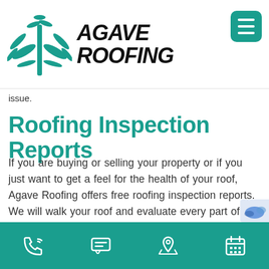Agave Roofing logo and navigation header
issue.
Roofing Inspection Reports
If you are buying or selling your property or if you just want to get a feel for the health of your roof, Agave Roofing offers free roofing inspection reports.  We will walk your roof and evaluate every part of the whole roofing system.  We will then send you a report with our opinion of your roof condition and if required our recommendations for repair or replacement. Contact us today for your free consultation, inspection a
Bottom navigation bar with phone, chat, location, and calendar icons